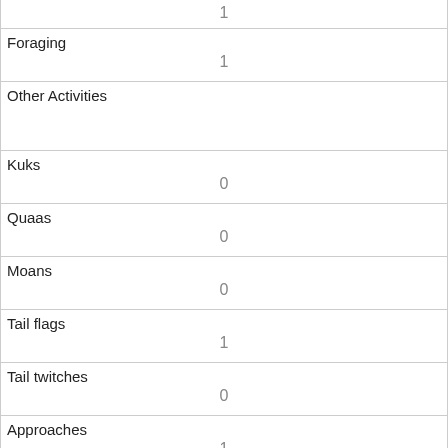| (continued from above) 1 |
| Foraging | 1 |
| Other Activities |  |
| Kuks | 0 |
| Quaas | 0 |
| Moans | 0 |
| Tail flags | 1 |
| Tail twitches | 0 |
| Approaches | 1 |
| Indifferent | 0 |
| Runs from | 1 |